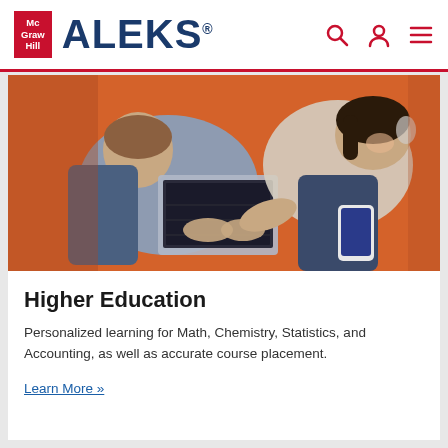McGraw Hill ALEKS
[Figure (photo): Overhead view of two students sitting on an orange couch, one working on a laptop, the other smiling and holding a smartphone]
Higher Education
Personalized learning for Math, Chemistry, Statistics, and Accounting, as well as accurate course placement.
Learn More »